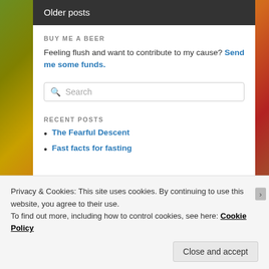Older posts
BUY ME A BEER
Feeling flush and want to contribute to my cause? Send me some funds.
Search
RECENT POSTS
The Fearful Descent
Fast facts for fasting
Privacy & Cookies: This site uses cookies. By continuing to use this website, you agree to their use.
To find out more, including how to control cookies, see here: Cookie Policy
Close and accept